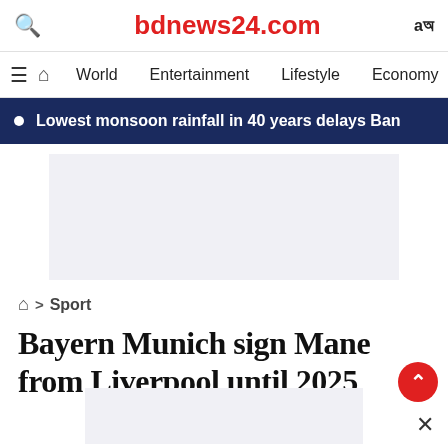bdnews24.com
World  Entertainment  Lifestyle  Economy  Busin
Lowest monsoon rainfall in 40 years delays Ban
[Figure (other): Advertisement placeholder box]
⌂ > Sport
Bayern Munich sign Mane from Liverpool until 2025
[Figure (other): Advertisement placeholder box at bottom]